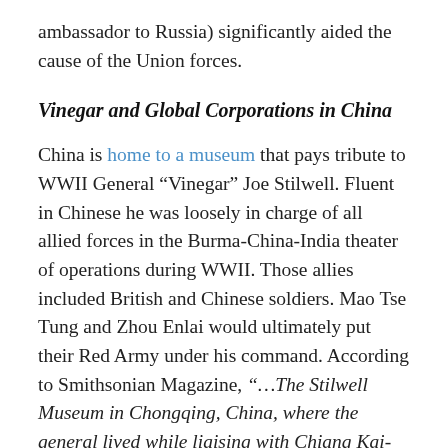ambassador to Russia) significantly aided the cause of the Union forces.
Vinegar and Global Corporations in China
China is home to a museum that pays tribute to WWII General “Vinegar” Joe Stilwell. Fluent in Chinese he was loosely in charge of all allied forces in the Burma-China-India theater of operations during WWII. Those allies included British and Chinese soldiers. Mao Tse Tung and Zhou Enlai would ultimately put their Red Army under his command. According to Smithsonian Magazine, “…The Stilwell Museum in Chongqing, China, where the general lived while liaising with Chiang Kai-Shek, then fighting both the Japanese and a Communist insurgency that would spiral into China’s long and brutal Civil